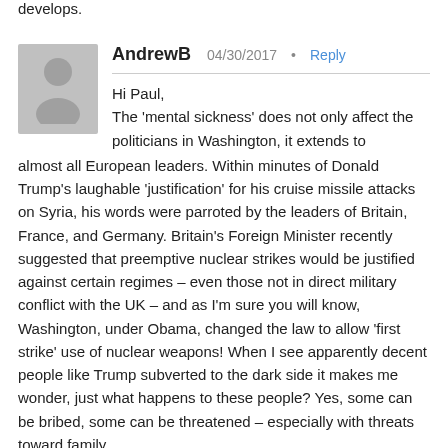develops.
AndrewB
04/30/2017
Reply
Hi Paul, The 'mental sickness' does not only affect the politicians in Washington, it extends to almost all European leaders. Within minutes of Donald Trump's laughable 'justification' for his cruise missile attacks on Syria, his words were parroted by the leaders of Britain, France, and Germany. Britain's Foreign Minister recently suggested that preemptive nuclear strikes would be justified against certain regimes – even those not in direct military conflict with the UK – and as I'm sure you will know, Washington, under Obama, changed the law to allow 'first strike' use of nuclear weapons! When I see apparently decent people like Trump subverted to the dark side it makes me wonder, just what happens to these people? Yes, some can be bribed, some can be threatened – especially with threats toward family